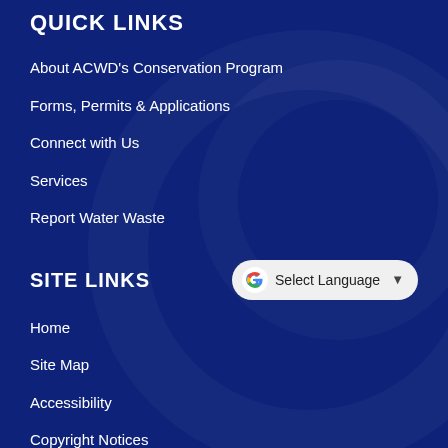QUICK LINKS
About ACWD's Conservation Program
Forms, Permits & Applications
Connect with Us
Services
Report Water Waste
SITE LINKS
Home
Site Map
Accessibility
Copyright Notices
Government Websites by CivicPlus®